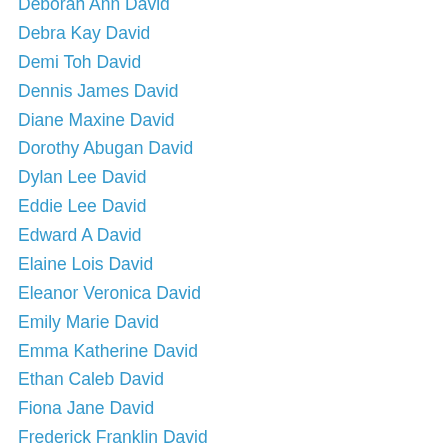Deborah Ann David
Debra Kay David
Demi Toh David
Dennis James David
Diane Maxine David
Dorothy Abugan David
Dylan Lee David
Eddie Lee David
Edward A David
Elaine Lois David
Eleanor Veronica David
Emily Marie David
Emma Katherine David
Ethan Caleb David
Fiona Jane David
Frederick Franklin David
Gabriel Daryawish David
Gardner Paul David